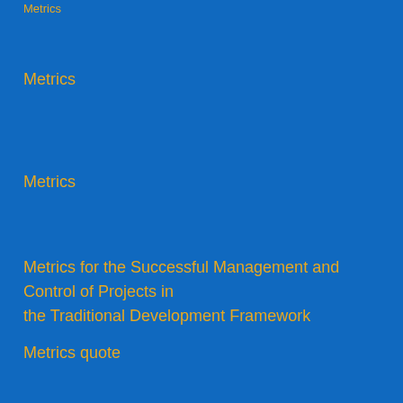Metrics
Metrics
Metrics for the Successful Management and Control of Projects in the Traditional Development Framework
Metrics quote
Metro Toronto Convention Centre
Miami
Michael Peter
Michael Ring